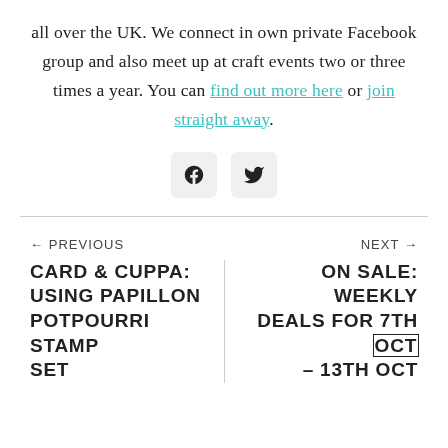all over the UK. We connect in own private Facebook group and also meet up at craft events two or three times a year. You can find out more here or join straight away.
[Figure (other): Two social media icon buttons — Facebook and Twitter — displayed as small rounded square icons]
← PREVIOUS
NEXT →
CARD & CUPPA: USING PAPILLON POTPOURRI STAMP SET
ON SALE: WEEKLY DEALS FOR 7TH OCT – 13TH OCT